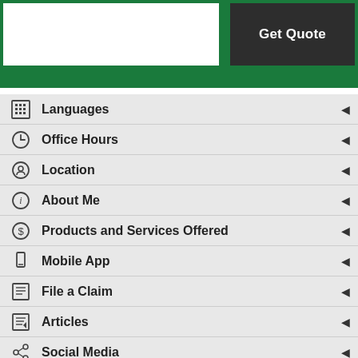[Figure (screenshot): Green header bar with white input box on left and dark 'Get Quote' button on right]
Languages
Office Hours
Location
About Me
Products and Services Offered
Mobile App
File a Claim
Articles
Social Media